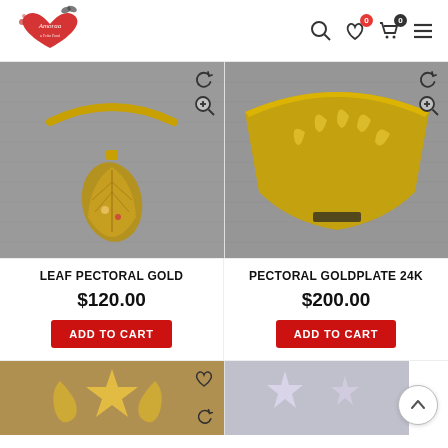[Figure (screenshot): E-commerce website header with Amoraa logo on left and search, wishlist (0), cart (0), and hamburger menu icons on right]
[Figure (photo): Gold leaf pectoral necklace on gray mannequin bust]
LEAF PECTORAL GOLD
$120.00
ADD TO CART
[Figure (photo): 24K gold plate pectoral necklace with leaf design on gray mannequin bust]
PECTORAL GOLDPLATE 24K
$200.00
ADD TO CART
[Figure (photo): Gold star and seahorse jewelry piece - partially visible at bottom of page]
[Figure (photo): Pink/silver glitter star necklace - partially visible at bottom right of page]